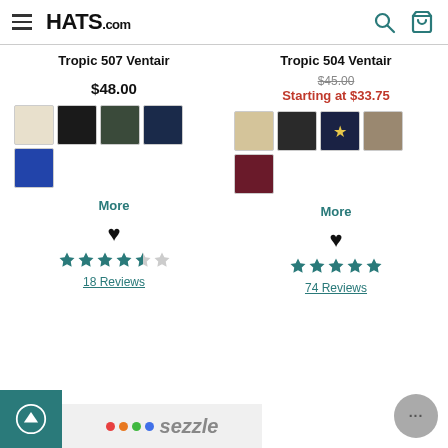HATS.com
Tropic 507 Ventair
$48.00
[Figure (other): Color swatches for Tropic 507 Ventair: cream/tan, black, dark green, navy blue, blue]
More
♥
★★★★½ 18 Reviews
Tropic 504 Ventair
$45.00 (strikethrough) Starting at $33.75
[Figure (other): Color swatches for Tropic 504 Ventair: tan, dark/black, gold star pattern, brown/khaki, burgundy]
More
♥
★★★★★ 74 Reviews